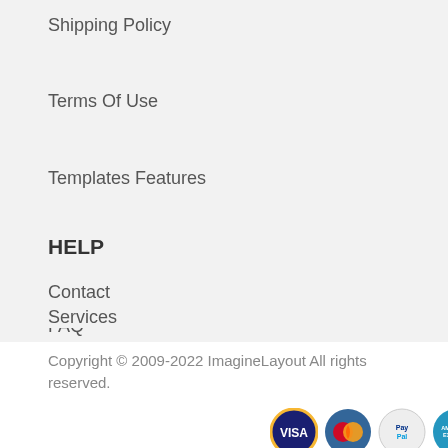Shipping Policy
Terms Of Use
Templates Features
HELP
Contact
FAQ
Services
Copyright © 2009-2022 ImagineLayout All rights reserved.
[Figure (logo): Payment method icons: Visa, Mastercard, PayPal, American Express, Discover]